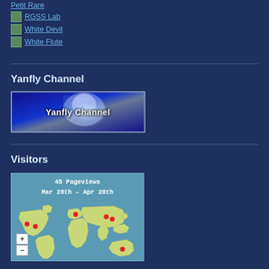Petit Rare
RGSS Lab
White Devil
White Flute
Yanfly Channel
[Figure (illustration): Yanfly Channel banner with blue gradient background and glowing white light effect, white bold text reading 'Yanfly Channel']
Visitors
[Figure (map): World visitor map widget showing '45 Pageviews Mar 28th - Apr 28th' with a world map on blue background, red pin markers on North America, Europe, and Asia, and zoom +/- controls]